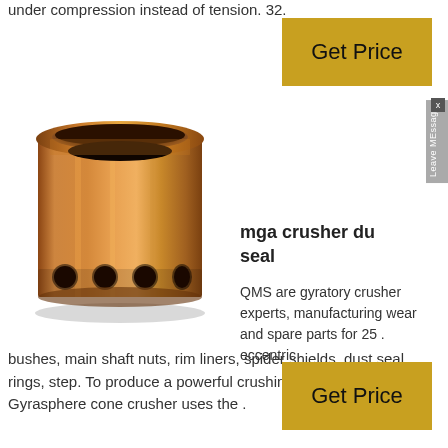under compression instead of tension. 32.
[Figure (photo): Copper/bronze cylindrical eccentric bushing with circular holes around the base and an open top, showing a machined metal component used in gyratory crushers.]
mga crusher dust seal
QMS are gyratory crusher experts, manufacturing wear and spare parts for 25 . eccentric
bushes, main shaft nuts, rim liners, spider shields, dust seal rings, step. To produce a powerful crushing action, a Gyrasphere cone crusher uses the .